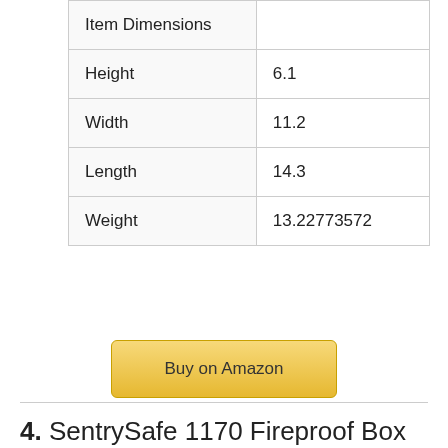|  |  |
| --- | --- |
| Item Dimensions |  |
| Height | 6.1 |
| Width | 11.2 |
| Length | 14.3 |
| Weight | 13.22773572 |
Buy on Amazon
4. SentrySafe 1170 Fireproof Box with Key Lock 0.61 Cubic